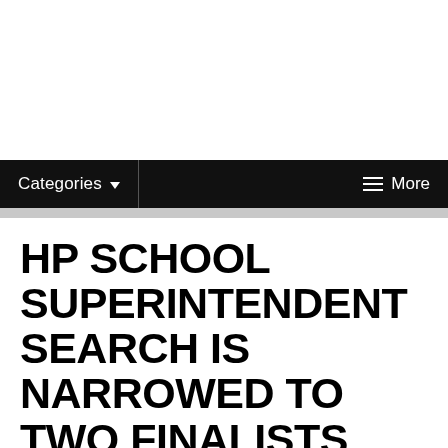Categories | More
HP SCHOOL SUPERINTENDENT SEARCH IS NARROWED TO TWO FINALISTS
BY PAM HERSH | JULY 21, 2015